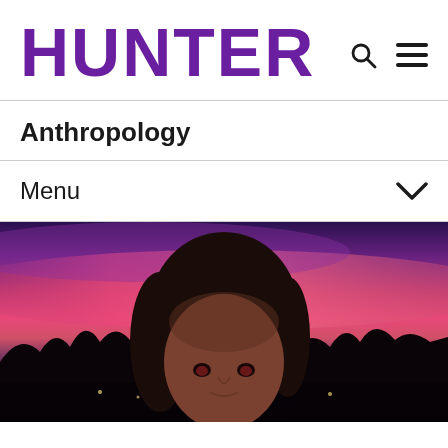HUNTER
Anthropology
Menu
[Figure (photo): Portrait photo of a person with dark hair against a purple and pink sunset sky background with silhouetted trees]